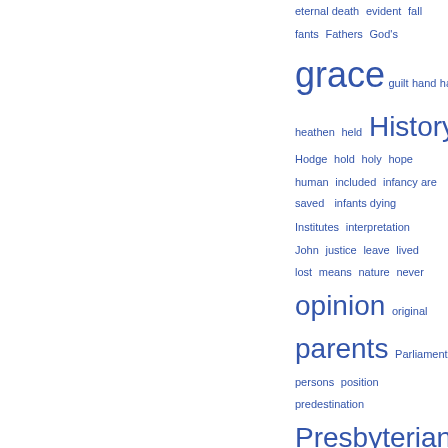[Figure (other): Tag cloud (word cloud) showing index or keyword terms in varying font sizes in blue, positioned in the right portion of the page. Words include: eternal death, evident, fall, fants, Fathers, God's, grace (large), guilt, hand, hath, heathen, held, History (large), Hodge, hold, holy, hope, human, included, infancy are saved, infants dying, Institutes, interpretation, John, justice, leave, lived, lost, means, nature, never, opinion (large), original, parents (large), Parliament, pass, persons, position, predestination, Presbyterian (large), present, Professor, promise, Protestant, punishment, question, quoted, reason]